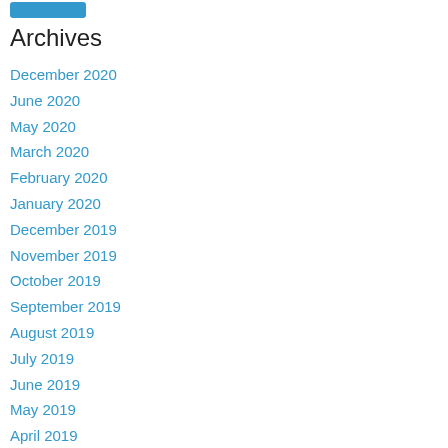[Figure (other): Blue button/pill element at top of page]
Archives
December 2020
June 2020
May 2020
March 2020
February 2020
January 2020
December 2019
November 2019
October 2019
September 2019
August 2019
July 2019
June 2019
May 2019
April 2019
March 2019
February 2019
January 2019